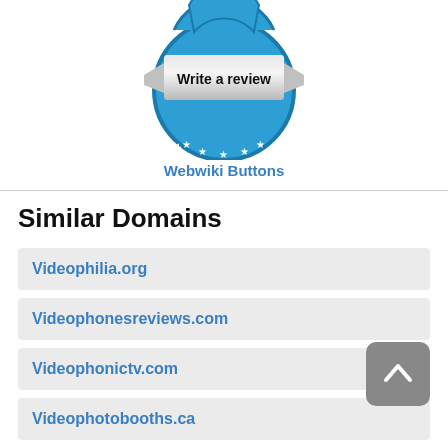[Figure (logo): Webwiki.com 'Write a review' badge: blue circular badge with silver ribbon banner in center reading 'Write a review' and 'webwiki.com' text at bottom of circle with stars]
Webwiki Buttons
Similar Domains
Videophilia.org
Videophonesreviews.com
Videophonictv.com
Videophotobooths.ca
Videophotography.ca